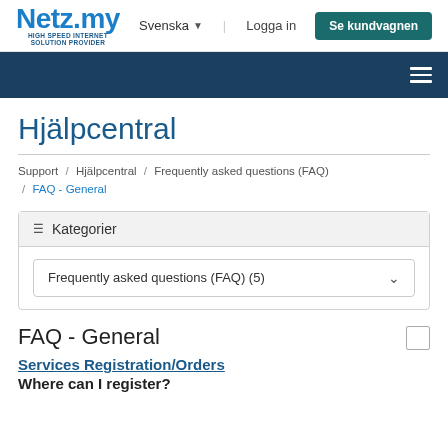Netz.my HIGH SPEED INTERNET SOLUTION PROVIDER | Svenska | Logga in | Se kundvagnen
Hjälpcentral
Support / Hjälpcentral / Frequently asked questions (FAQ) / FAQ - General
Kategorier
Frequently asked questions (FAQ) (5)
FAQ - General
Services Registration/Orders
Where can I register?